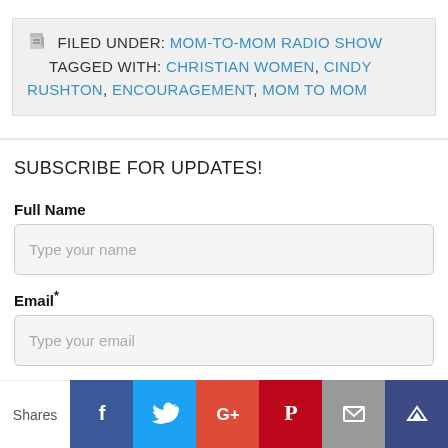FILED UNDER: MOM-TO-MOM RADIO SHOW TAGGED WITH: CHRISTIAN WOMEN, CINDY RUSHTON, ENCOURAGEMENT, MOM TO MOM
SUBSCRIBE FOR UPDATES!
Full Name
Type your name
Email*
Type your email
Shares